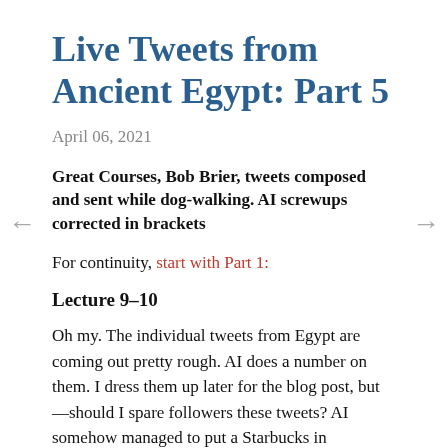Live Tweets from Ancient Egypt: Part 5
April 06, 2021
Great Courses, Bob Brier, tweets composed and sent while dog-walking. AI screwups corrected in brackets
For continuity, start with Part 1:
Lecture 9–10
Oh my. The individual tweets from Egypt are coming out pretty rough. AI does a number on them. I dress them up later for the blog post, but—should I spare followers these tweets? AI somehow managed to put a Starbucks in